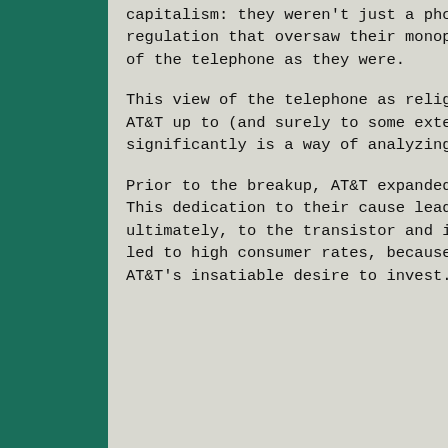capitalism: they weren't just a phone company, they were the phone company, and the regulation that oversaw their monopolized service was just as devout in the religion of the telephone as they were.
This view of the telephone as religion can shed useful insight into the behavior of AT&T up to (and surely to some extent after) the breakup, but perhaps most significantly is a way of analyzing how AT&T changed after the breakup.
Prior to the breakup, AT&T expanded and improved their network with religious zeal. This dedication to their cause lead to the establishment of Bell Laboratories and, ultimately, to the transistor and in many ways to the computer. At the same time, it led to high consumer rates, because rates were determined not competitively but by AT&T's insatiable desire to invest.